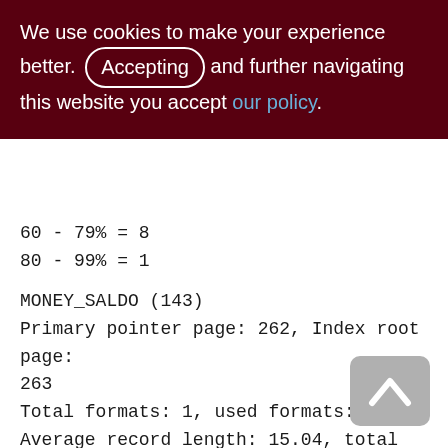We use cookies to make your experience better. By Accepting and further navigating this website you accept our policy.
60 - 79% = 8
80 - 99% = 1
MONEY_SALDO (143)
Primary pointer page: 262, Index root page: 263
Total formats: 1, used formats: 1
Average record length: 15.04, total records: 49
Average version length: 0.00, total versions: 0, max versions: 0
Average fragment length: 0.00, total fragments: 0, max fragments: 0